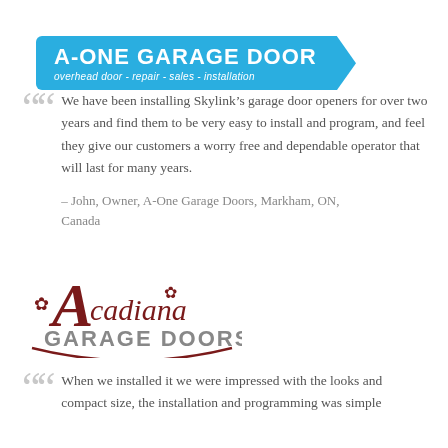[Figure (logo): A-One Garage Door logo on a blue banner with pointed right edge. Text: A-ONE GARAGE DOOR, overhead door - repair - sales - installation]
We have been installing Skylink’s garage door openers for over two years and find them to be very easy to install and program, and feel they give our customers a worry free and dependable operator that will last for many years.

– John, Owner, A-One Garage Doors, Markham, ON, Canada
[Figure (logo): Acadiana Garage Doors logo with dark red script text and decorative fleur-de-lis ornament, with GARAGE DOORS in bold grey block letters below]
When we installed it we were impressed with the looks and compact size, the installation and programming was simple